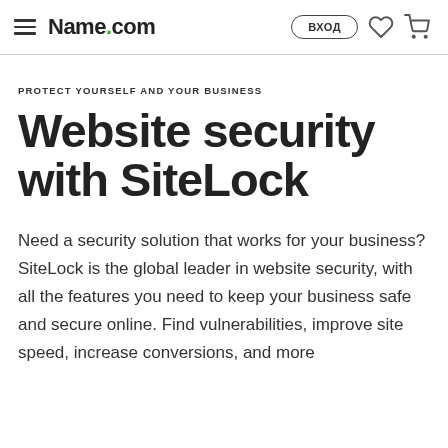Name.com — ВХОД
PROTECT YOURSELF AND YOUR BUSINESS
Website security with SiteLock
Need a security solution that works for your business? SiteLock is the global leader in website security, with all the features you need to keep your business safe and secure online. Find vulnerabilities, improve site speed, increase conversions, and more